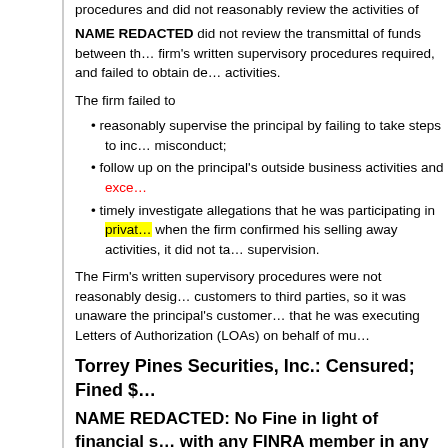procedures and did not reasonably review the activities of tha...
NAME REDACTED did not review the transmittal of funds between th... firm's written supervisory procedures required, and failed to obtain de... activities.
The firm failed to
reasonably supervise the principal by failing to take steps to inc... misconduct;
follow up on the principal's outside business activities and exce...
timely investigate allegations that he was participating in privat... when the firm confirmed his selling away activities, it did not ta... supervision.
The Firm's written supervisory procedures were not reasonably desig... customers to third parties, so it was unaware the principal's customer... that he was executing Letters of Authorization (LOAs) on behalf of mu...
Torrey Pines Securities, Inc.: Censured; Fined $
NAME REDACTED: No Fine in light of financial s... with any FINRA member in any principal capacit... municipal securities principal, for 10 business d...
Tags:  Annual Compliance Certification   Trustee   Inspections   |